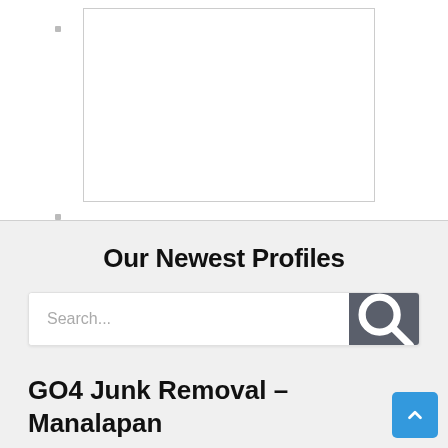[Figure (other): White rectangular image placeholder with a border, positioned in the upper white section of the page]
Our Newest Profiles
[Figure (screenshot): Search bar with placeholder text 'Search...' and a dark gray search button with magnifying glass icon]
GO4 Junk Removal – Manalapan